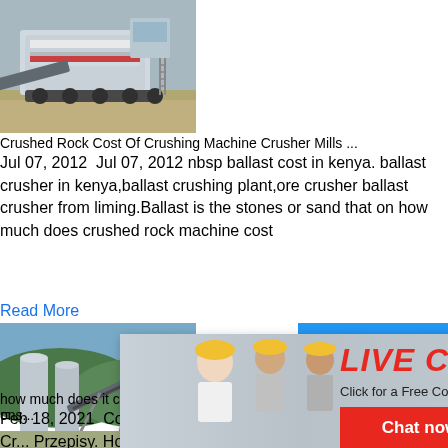[Figure (photo): Mining crusher machinery on a construction/quarry site — heavy equipment with conveyor belts]
Crushed Rock Cost Of Crushing Machine Crusher Mills ...
Jul 07, 2012  Jul 07, 2012 nbsp ballast cost in kenya. ballast crusher in kenya,ballast crushing plant,ore crusher ballast crusher from liming.Ballast is the stones or sand that on how much does crushed rock machine cost
Read More
[Figure (photo): Live chat popup overlay showing three workers in yellow hard hats, with 'LIVE CHAT' title, 'Click for a Free Consultation' subtitle, 'Chat now' (red) and 'Chat later' (black) buttons]
[Figure (photo): Right sidebar showing crusher machine image, blue background with 'hour online' text, 'Click me to chat>>' button, 'Enquiry' section, and 'limingjlmofen' bar]
[Figure (photo): Industrial quarry or plant facility with silos and conveyor belts on hillside]
how much does it cost to have a rock crusher ons...
Feb 18, 2021  Cost To To Operate Rock Cr... Przepisy. How Much Does It Cost To Have ... Onsite. How much does the crusher cost h... 145 rock crusher cost Mine Equipments ho...